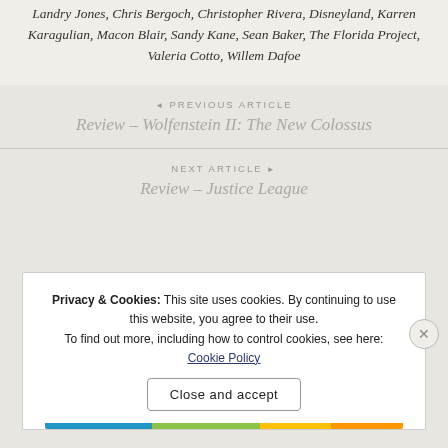Landry Jones, Chris Bergoch, Christopher Rivera, Disneyland, Karren Karagulian, Macon Blair, Sandy Kane, Sean Baker, The Florida Project, Valeria Cotto, Willem Dafoe
◄ PREVIOUS ARTICLE
Review – Wolfenstein II: The New Colossus
NEXT ARTICLE ►
Review – Justice League
Privacy & Cookies: This site uses cookies. By continuing to use this website, you agree to their use.
To find out more, including how to control cookies, see here: Cookie Policy
Close and accept